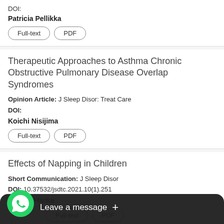DOI:
Patricia Pellikka
Full-text  PDF
Therapeutic Approaches to Asthma Chronic Obstructive Pulmonary Disease Overlap Syndromes
Opinion Article: J Sleep Disor: Treat Care
DOI:
Koichi Nisijima
Full-text  PDF
Effects of Napping in Children
Short Communication: J Sleep Disor
DOI: 10.37532/jsdtc.2021.10(1).251
Shabad Harika
act  Full-text  PDF
[Figure (screenshot): WhatsApp chat widget overlay with green WhatsApp icon and 'Leave a message +' dark bar]
Ven  raphy in Patients